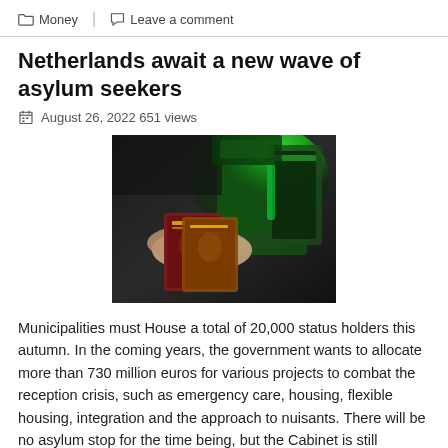Money  |  Leave a comment
Netherlands await a new wave of asylum seekers
August 26, 2022 651 views
[Figure (photo): A person holding two passports under a green light scanner at a border control checkpoint]
Municipalities must House a total of 20,000 status holders this autumn. In the coming years, the government wants to allocate more than 730 million euros for various projects to combat the reception crisis, such as emergency care, housing, flexible housing, integration and the approach to nuisants. There will be no asylum stop for the time being, but the Cabinet is still hatching restrictions on the influx. This is shown by a draft agreement between the cabinet and municipalities in the hands of the political editors of RTL Nieuws. The administrative…